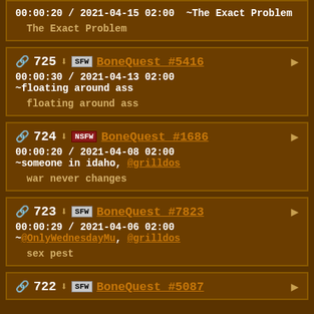726 [SFW] BoneQuest #... 00:00:20 / 2021-04-15 02:00 ~The Exact Problem | The Exact Problem
725 [SFW] BoneQuest #5416 00:00:30 / 2021-04-13 02:00 ~floating around ass | floating around ass
724 [NSFW] BoneQuest #1686 00:00:20 / 2021-04-08 02:00 ~someone in idaho, @grilldos | war never changes
723 [SFW] BoneQuest #7823 00:00:29 / 2021-04-06 02:00 ~@OnlyWednesdayMu, @grilldos | sex pest
722 [SFW] BoneQuest #5087